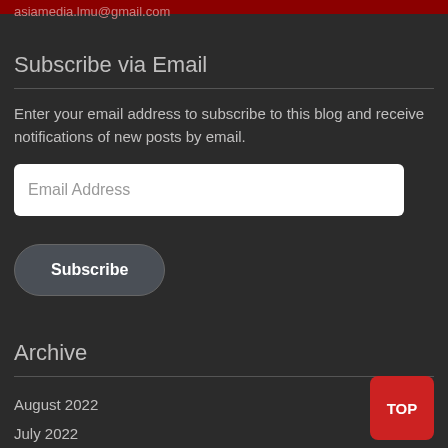asiamedia.lmu@gmail.com
Subscribe via Email
Enter your email address to subscribe to this blog and receive notifications of new posts by email.
Email Address
Subscribe
Archive
August 2022
July 2022
June 2022
May 2022
TOP